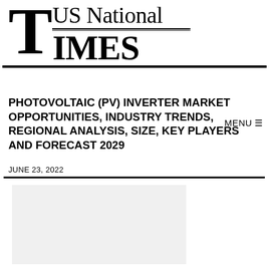US National TIMES
PHOTOVOLTAIC (PV) INVERTER MARKET OPPORTUNITIES, INDUSTRY TRENDS, REGIONAL ANALYSIS, SIZE, KEY PLAYERS AND FORECAST 2029
JUNE 23, 2022
[Figure (photo): Placeholder image area, light grey rectangle]